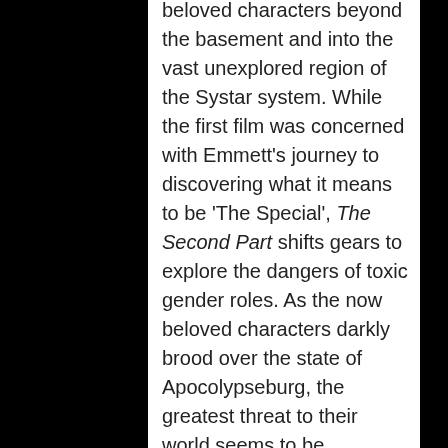beloved characters beyond the basement and into the vast unexplored region of the Systar system. While the first film was concerned with Emmett's journey to discovering what it means to be 'The Special', The Second Part shifts gears to explore the dangers of toxic gender roles. As the now beloved characters darkly brood over the state of Apocolypseburg, the greatest threat to their world seems to be… brightly colored hearts and glittery musical numbers. Led by WyldStyle and Batman, the lost Legos do their best not to succumb to the suspicious nature of the